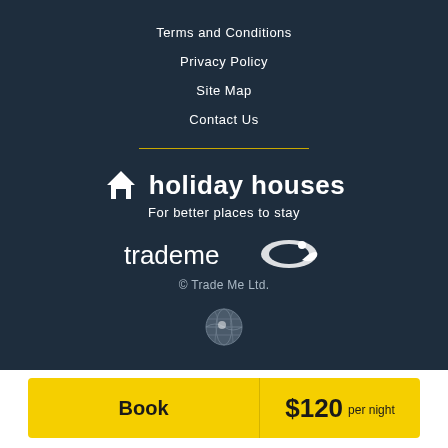Terms and Conditions
Privacy Policy
Site Map
Contact Us
[Figure (logo): Holiday Houses logo with house icon and text 'holiday houses' and tagline 'For better places to stay']
[Figure (logo): Trade Me logo with kiwi bird icon]
© Trade Me Ltd.
[Figure (illustration): Globe/earth icon]
Book
$120 per night
Message the owner